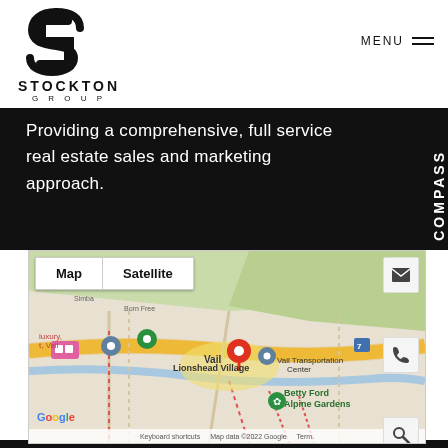[Figure (logo): Stockton Group logo with stylized S mark and text STOCKTON GROUP]
MENU
Providing a comprehensive, full service real estate sales and marketing approach.
COMPASS
[Figure (map): Google Map showing Vail area including Lionshead Village, Betty Ford Alpine Gardens, Vail Transportation Center, with map/satellite toggle, location pins, and Google branding. Map data ©2022 Google]